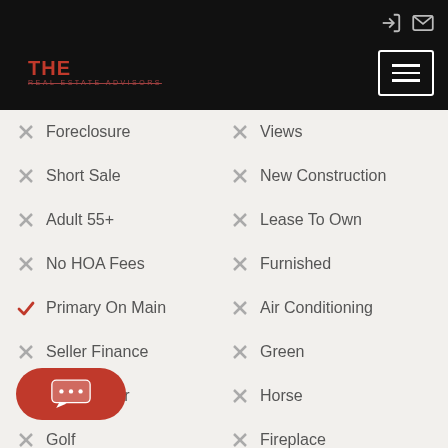THE REAL ESTATE ADVISORS
Foreclosure (×)
Views (×)
Short Sale (×)
New Construction (×)
Adult 55+ (×)
Lease To Own (×)
No HOA Fees (×)
Furnished (×)
Primary On Main (✓)
Air Conditioning (×)
Seller Finance (×)
Green (×)
Fixer Upper (×)
Horse (×)
Golf (×)
Fireplace (×)
Garage (✓)
Basement (×)
Pool (✓)